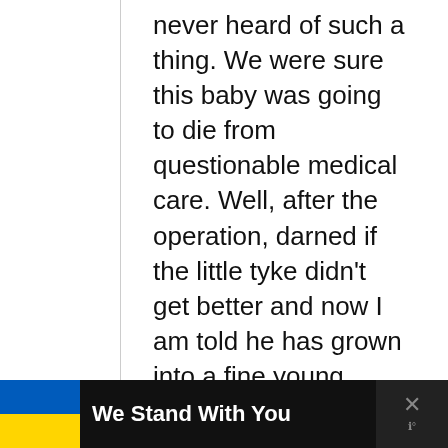never heard of such a thing. We were sure this baby was going to die from questionable medical care. Well, after the operation, darned if the little tyke didn’t get better and now I am told he has grown into a fine young man. It’s just an anecdote, but wow, my estimation of the Romanian medical establishment really improved!
On the subject of taxes, some
[Figure (other): Advertisement banner: Ukrainian flag (blue and yellow) with text 'We Stand With You' on black background, with close (X) button]